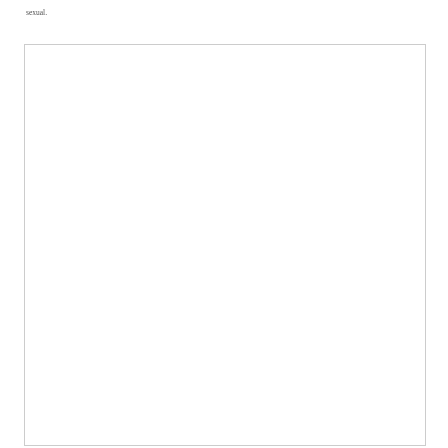sexual.
[Figure (other): Large white rectangular box with a thin gray border, mostly blank/empty content area]